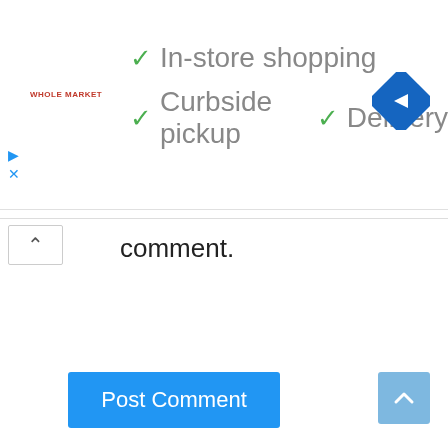[Figure (screenshot): Ad banner for Whole Market grocery store showing checkmarks for In-store shopping, Curbside pickup, and Delivery, with a blue diamond navigation arrow icon on the right]
comment.
[Figure (other): Blue Post Comment button]
[Figure (other): Light blue scroll-to-top button with upward chevron arrow in bottom-right corner]